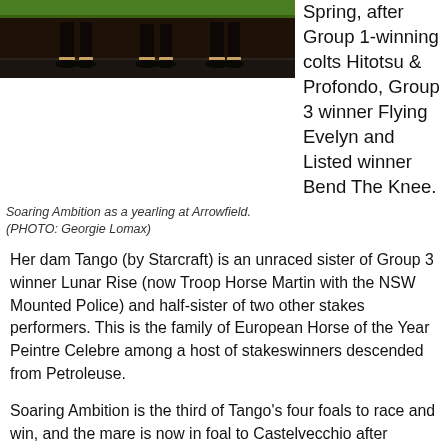[Figure (photo): Photo of Soaring Ambition as a yearling at Arrowfield, showing the horse's legs on pavement with grass in background]
Spring, after Group 1-winning colts Hitotsu & Profondo, Group 3 winner Flying Evelyn and Listed winner Bend The Knee.
Soaring Ambition as a yearling at Arrowfield. (PHOTO: Georgie Lomax)
Her dam Tango (by Starcraft) is an unraced sister of Group 3 winner Lunar Rise (now Troop Horse Martin with the NSW Mounted Police) and half-sister of two other stakes performers. This is the family of European Horse of the Year Peintre Celebre among a host of stakeswinners descended from Petroleuse.
Soaring Ambition is the third of Tango's four foals to race and win, and the mare is now in foal to Castelvecchio after foaling a filly by him in August.